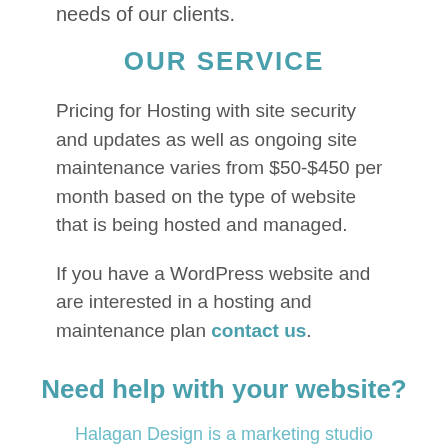needs of our clients.
OUR SERVICE
Pricing for Hosting with site security and updates as well as ongoing site maintenance varies from $50-$450 per month based on the type of website that is being hosted and managed.
If you have a WordPress website and are interested in a hosting and maintenance plan contact us.
Need help with your website?
Halagan Design is a marketing studio specializing in web design and marketing for expert and nonprofit organizations as well as businesses interested in educating their